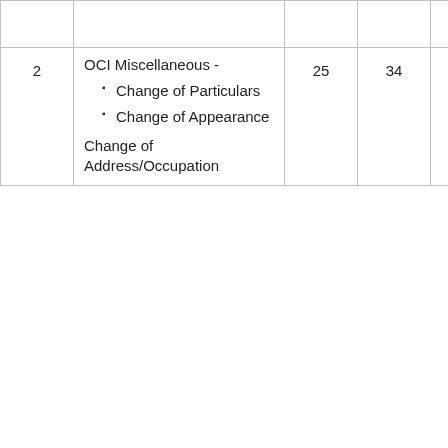|  |  |  |  |  |  |
| 2 | OCI Miscellaneous -
• Change of Particulars
• Change of Appearance
Change of Address/Occupation | 25 | 34 | 25 | 33.81 |